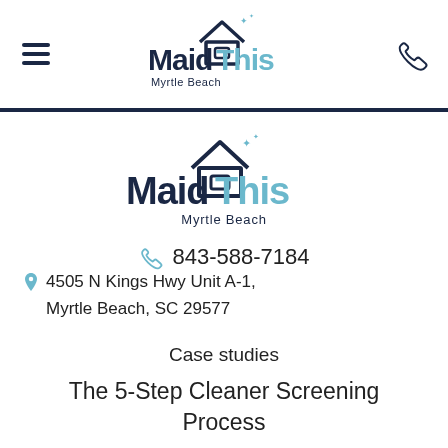[Figure (logo): MaidThis Myrtle Beach logo in header with hamburger menu and phone icon]
[Figure (logo): MaidThis Myrtle Beach logo centered in main content area]
843-588-7184
4505 N Kings Hwy Unit A-1, Myrtle Beach, SC 29577
Case studies
The 5-Step Cleaner Screening Process